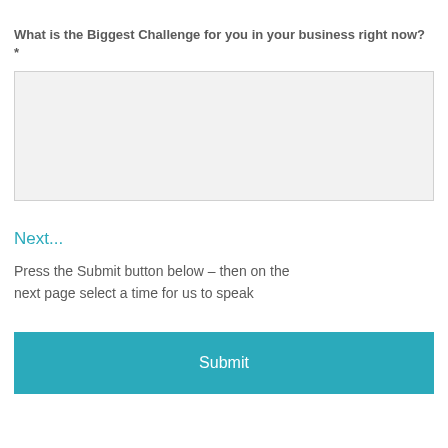What is the Biggest Challenge for you in your business right now?  *
[Figure (other): Empty text area input box with light gray background and light border]
Next...
Press the Submit button below – then on the next page select a time for us to speak
Submit